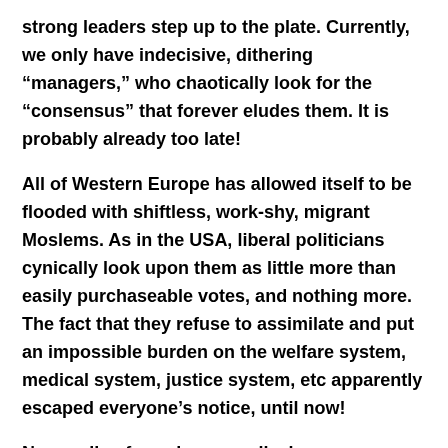strong leaders step up to the plate. Currently, we only have indecisive, dithering “managers,” who chaotically look for the “consensus” that forever eludes them. It is probably already too late!
All of Western Europe has allowed itself to be flooded with shiftless, work-shy, migrant Moslems. As in the USA, liberal politicians cynically look upon them as little more than easily purchaseable votes, and nothing more. The fact that they refuse to assimilate and put an impossible burden on the welfare system, medical system, justice system, etc apparently escaped everyone’s notice, until now!
Now, cells of murderous radicals are supported by the massive indigenous Islamic population.
Imagine that!